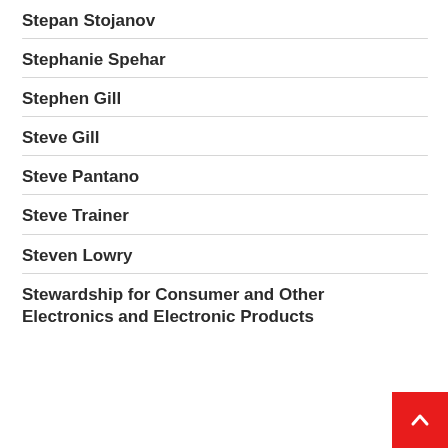Stepan Stojanov
Stephanie Spehar
Stephen Gill
Steve Gill
Steve Pantano
Steve Trainer
Steven Lowry
Stewardship for Consumer and Other Electronics and Electronic Products